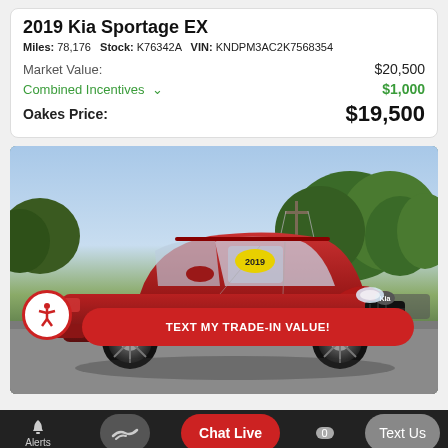2019 Kia Sportage EX
Miles: 78,176   Stock: K76342A   VIN: KNDPM3AC2K7568354
| Market Value: | $20,500 |
| Combined Incentives | $1,000 |
| Oakes Price: | $19,500 |
[Figure (photo): 2019 Kia Sportage EX in red, parked at a dealership lot with trees in the background. A yellow price sticker is visible on the windshield. A 'TEXT MY TRADE-IN VALUE!' button overlays the bottom of the image.]
TEXT MY TRADE-IN VALUE!
Alerts   [handshake icon]   Chat Live   0   Text Us